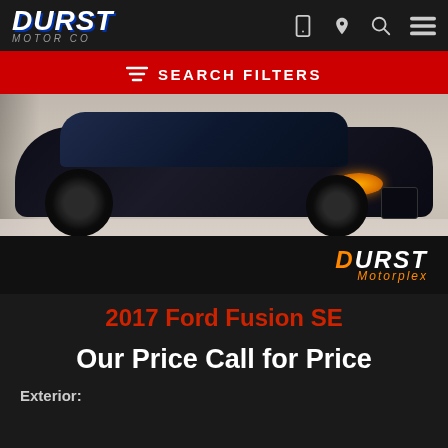Durst Motor Co
SEARCH FILTERS
[Figure (photo): Black 2017 Ford Fusion SE photographed in a dealership showroom, parked on a Durst Motorplex branded floor mat. The car has blacked-out wheels and a sportive front fascia. Background shows tile flooring and dealership interior.]
2017 Ford Fusion SE
Our Price Call for Price
Exterior: